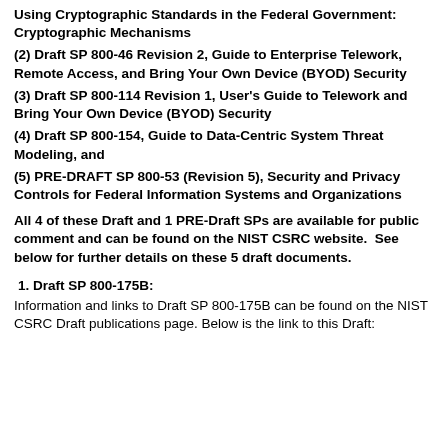Using Cryptographic Standards in the Federal Government: Cryptographic Mechanisms
(2) Draft SP 800-46 Revision 2, Guide to Enterprise Telework, Remote Access, and Bring Your Own Device (BYOD) Security
(3) Draft SP 800-114 Revision 1, User's Guide to Telework and Bring Your Own Device (BYOD) Security
(4) Draft SP 800-154, Guide to Data-Centric System Threat Modeling, and
(5) PRE-DRAFT SP 800-53 (Revision 5), Security and Privacy Controls for Federal Information Systems and Organizations
All 4 of these Draft and 1 PRE-Draft SPs are available for public comment and can be found on the NIST CSRC website.  See below for further details on these 5 draft documents.
1. Draft SP 800-175B:
Information and links to Draft SP 800-175B can be found on the NIST CSRC Draft publications page. Below is the link to this Draft: